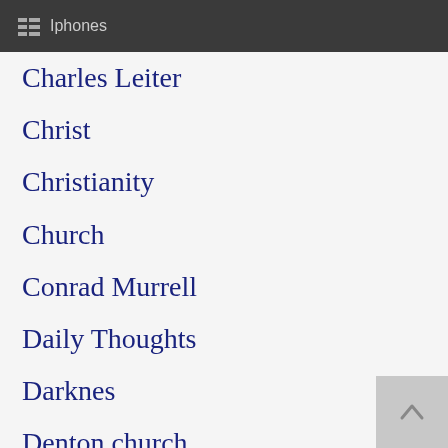Iphones
Charles Leiter
Christ
Christianity
Church
Conrad Murrell
Daily Thoughts
Darknes
Denton church
Don Currin
Don Johnson
Fall